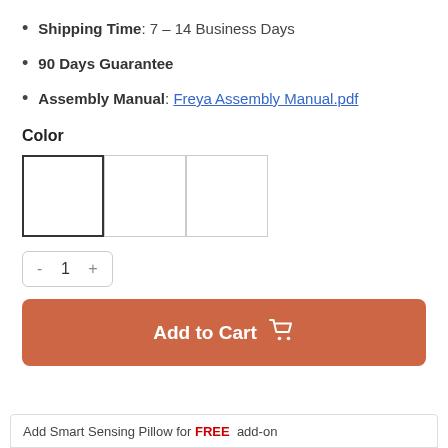Shipping Time: 7 – 14 Business Days
90 Days Guarantee
Assembly Manual: Freya Assembly Manual.pdf
Color
[Figure (other): Three color swatch boxes side by side; first is selected (darker border), second and third are plain white]
- 1 +
Add to Cart
Add Smart Sensing Pillow for FREE add-on